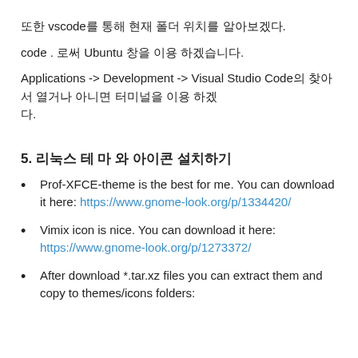또한 vscode를 통해 현재 폴더 위치를 알아보겠다.
code . 로써 Ubuntu 창을 이용 하겠습니다.
Applications -> Development -> Visual Studio Code의 찾아서 열거나 아니면 터미널을 이용 하겠다.
5. 리눅스 테 마 와 아이콘 설치하기
Prof-XFCE-theme is the best for me. You can download it here: https://www.gnome-look.org/p/1334420/
Vimix icon is nice. You can download it here: https://www.gnome-look.org/p/1273372/
After download *.tar.xz files you can extract them and copy to themes/icons folders: